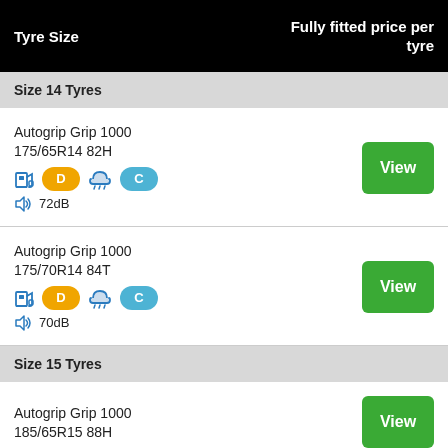| Tyre Size | Fully fitted price per tyre |
| --- | --- |
| Size 14 Tyres |  |
| Autogrip Grip 1000
175/65R14 82H
D / C / 72dB | View |
| Autogrip Grip 1000
175/70R14 84T
D / C / 70dB | View |
| Size 15 Tyres |  |
| Autogrip Grip 1000
185/65R15 88H | View |